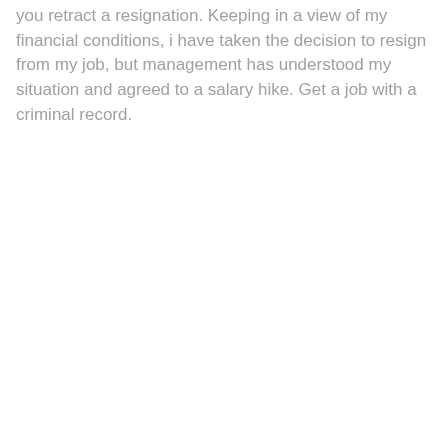you retract a resignation. Keeping in a view of my financial conditions, i have taken the decision to resign from my job, but management has understood my situation and agreed to a salary hike. Get a job with a criminal record.